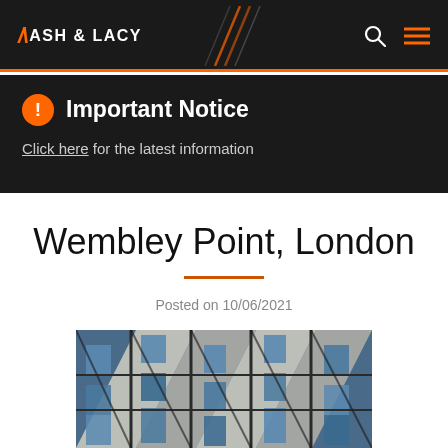ASH & LACY
Important Notice
Click here for the latest information
Wembley Point, London
Posted on 10/06/2021
[Figure (photo): Close-up photograph of a modern glass and steel building facade showing windows and structural elements at an angle]